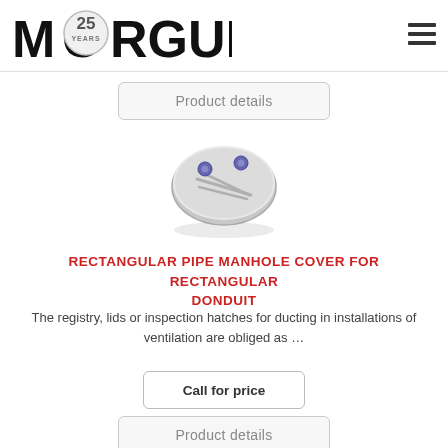[Figure (logo): Morgui 25 Years logo — bold black letters M-O-R-G-U-I with a circular badge between the O and R showing '25 YEARS']
Product details
[Figure (photo): Oval/rounded rectangular metallic manhole cover plate with two blue bolt/screw fittings on top, shown at an angle]
RECTANGULAR PIPE MANHOLE COVER FOR RECTANGULAR DONDUIT
The registry, lids or inspection hatches for ducting in installations of ventilation are obliged as ...
Call for price
Product details